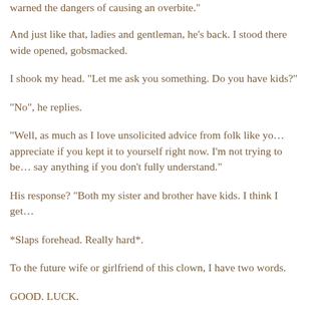warned the dangers of causing an overbite."
And just like that, ladies and gentleman, he's back. I stood there wide opened, gobsmacked.
I shook my head. "Let me ask you something. Do you have kids?"
"No", he replies.
"Well, as much as I love unsolicited advice from folk like you, I'd appreciate if you kept it to yourself right now. I'm not trying to be rude, but don't say anything if you don't fully understand."
His response? "Both my sister and brother have kids. I think I get it."
*Slaps forehead. Really hard*.
To the future wife or girlfriend of this clown, I have two words.
GOOD. LUCK.